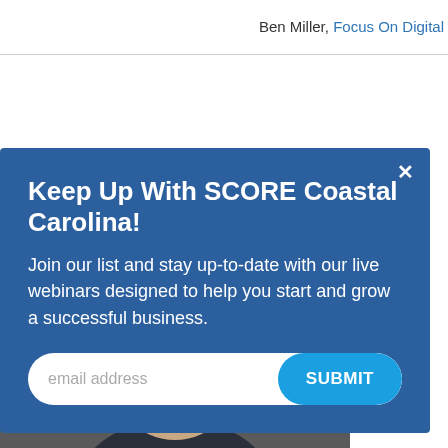Ben Miller, Focus On Digital
[Figure (photo): Headshot of a smiling man in a dark blazer against a grey background, cropped to show from chest up]
× Keep Up With SCORE Coastal Carolina! Join our list and stay up-to-date with our live webinars designed to help you start and grow a successful business. [email address] SUBMIT